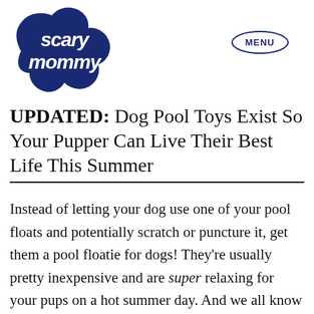[Figure (logo): Scary Mommy logo — dark navy blue cloud-shaped badge with white script text reading 'scary mommy']
MENU
UPDATED: Dog Pool Toys Exist So Your Pupper Can Live Their Best Life This Summer
Instead of letting your dog use one of your pool floats and potentially scratch or puncture it, get them a pool floatie for dogs! They're usually pretty inexpensive and are super relaxing for your pups on a hot summer day. And we all know dogs can get a little smelly when their fur gets wet, so giving them their own float is just better for everyone. Either way, it's a winning situation for pooch and parent! There are so